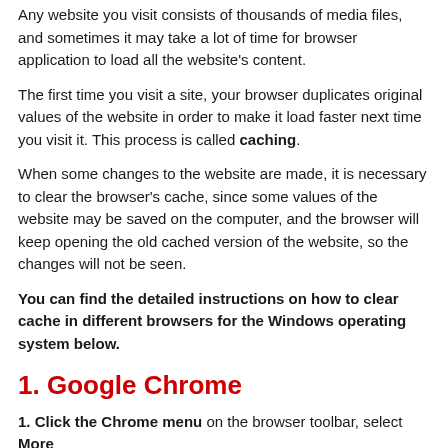Any website you visit consists of thousands of media files, and sometimes it may take a lot of time for browser application to load all the website's content.
The first time you visit a site, your browser duplicates original values of the website in order to make it load faster next time you visit it. This process is called caching.
When some changes to the website are made, it is necessary to clear the browser's cache, since some values of the website may be saved on the computer, and the browser will keep opening the old cached version of the website, so the changes will not be seen.
You can find the detailed instructions on how to clear cache in different browsers for the Windows operating system below.
1. Google Chrome
1. Click the Chrome menu on the browser toolbar, select More